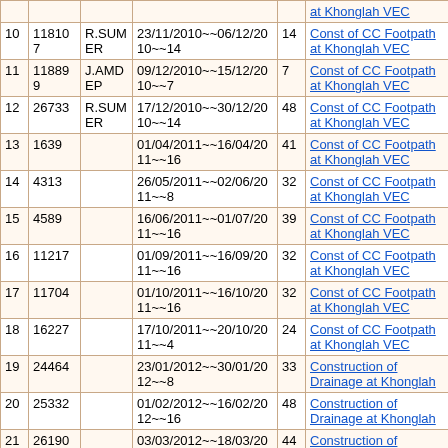| # | Amount | Vendor | Dates | Days | Work Description |
| --- | --- | --- | --- | --- | --- |
| 10 | 118107 | R.SUMER | 23/11/2010~~06/12/2010~~14 | 14 | Const of CC Footpath at Khonglah VEC |
| 11 | 118899 | J.AMDEP | 09/12/2010~~15/12/2010~~7 | 7 | Const of CC Footpath at Khonglah VEC |
| 12 | 26733 | R.SUMER | 17/12/2010~~30/12/2010~~14 | 48 | Const of CC Footpath at Khonglah VEC |
| 13 | 1639 |  | 01/04/2011~~16/04/2011~~16 | 41 | Const of CC Footpath at Khonglah VEC |
| 14 | 4313 |  | 26/05/2011~~02/06/2011~~8 | 32 | Const of CC Footpath at Khonglah VEC |
| 15 | 4589 |  | 16/06/2011~~01/07/2011~~16 | 39 | Const of CC Footpath at Khonglah VEC |
| 16 | 11217 |  | 01/09/2011~~16/09/2011~~16 | 32 | Const of CC Footpath at Khonglah VEC |
| 17 | 11704 |  | 01/10/2011~~16/10/2011~~16 | 32 | Const of CC Footpath at Khonglah VEC |
| 18 | 16227 |  | 17/10/2011~~20/10/2011~~4 | 24 | Const of CC Footpath at Khonglah VEC |
| 19 | 24464 |  | 23/01/2012~~30/01/2012~~8 | 33 | Construction of Drainage at Khonglah |
| 20 | 25332 |  | 01/02/2012~~16/02/2012~~16 | 48 | Construction of Drainage at Khonglah |
| 21 | 26190 |  | 03/03/2012~~18/03/2012~~16 | 44 | Construction of Drainage at Khonglah |
| 22 | 3435 |  | 17/05/2012~~24/05/2012~~8 | 27 | Construction of Drainage at Khonglah |